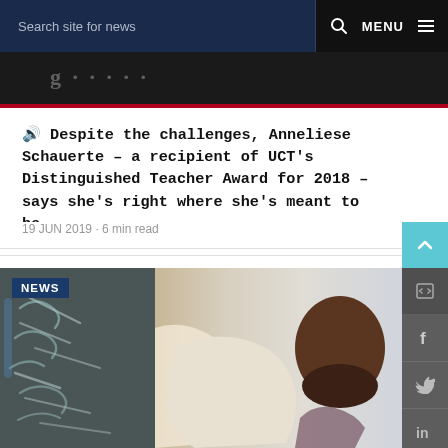Search site for news   MENU
[Figure (screenshot): Partial dark image strip at top of page with faint text visible]
🔊 Despite the challenges, Anneliese Schauerte – a recipient of UCT's Distinguished Teacher Award for 2018 – says she's right where she's meant to be.
19 JUN 2019 · 6 min read
[Figure (photo): A bearded man of South Asian appearance writing on a blackboard with chalk, wearing a light sweater, photographed from the side. A NEWS badge is visible in the top left of the image.]